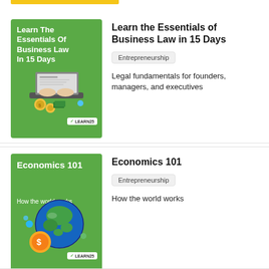[Figure (illustration): Book cover for 'Learn The Essentials Of Business Law In 15 Days' with green background, 3D illustration of hands over laptop with documents and coins, LEARN25 badge]
Learn the Essentials of Business Law in 15 Days
Entrepreneurship
Legal fundamentals for founders, managers, and executives
[Figure (illustration): Book cover for 'Economics 101 How the world works' with green background, 3D illustration of globe and gold coin, LEARN25 badge]
Economics 101
Entrepreneurship
How the world works